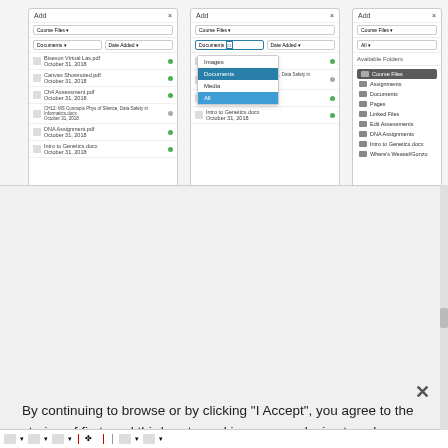[Figure (screenshot): Screenshot of a learning management system (Canvas LMS) showing three 'Add' panels with course files, documents dropdown menus showing Images, Documents, Media, All options, and a folder navigation panel on the right showing Available Folders including Course Files, Assignments, Documents, Pages, Linked Files, Edit Assessments, DNA Assignments, Intro to Genetics, Where's Weasel/Gonzo.]
By continuing to browse or by clicking "I Accept", you agree to the storing of first- and third-party cookies on your device to enhance site navigation, analyze site usage, and assist in our marketing efforts. Privacy Policy
I Accept
Cookies Settings